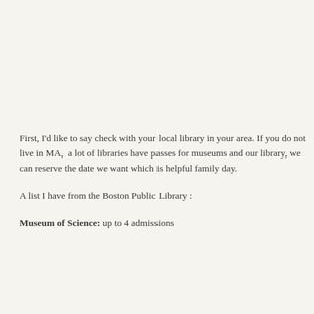First, I'd like to say check with your local library in your area. If you do not live in MA,  a lot of libraries have passes for museums and zoos. At our library, we can reserve the date we want which is helpful to plan a family day.
A list I have from the Boston Public Library :
Museum of Science: up to 4 admissions